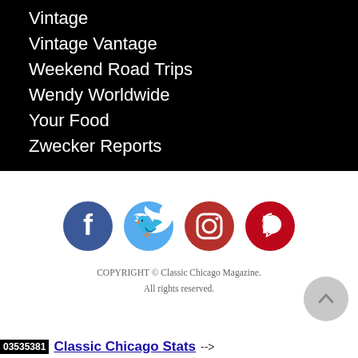Vintage
Vintage Vantage
Weekend Road Trips
Wendy Worldwide
Your Food
Zwecker Reports
[Figure (infographic): Social media icons: Facebook (dark blue circle), Twitter (light blue circle), Instagram (dark red circle), Pinterest (dark red circle)]
COPYRIGHT © Classic Chicago Magazine. All rights reserved.
Classic Chicago Stats -->
03535381